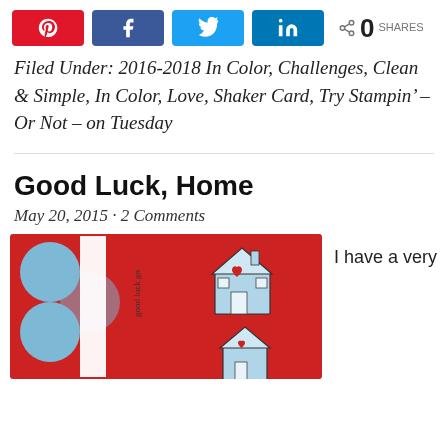[Figure (infographic): Social share buttons row: Pinterest (red), Facebook (blue), Twitter (light blue), LinkedIn (dark blue), and a share count showing 0 SHARES]
Filed Under: 2016-2018 In Color, Challenges, Clean & Simple, In Color, Love, Shaker Card, Try Stampin' – Or Not – on Tuesday
Good Luck, Home
May 20, 2015 · 2 Comments
[Figure (photo): Photo of handmade greeting cards: red card with blue scallop circles and white stamped banner reading 'good luck' on the left, and on the right a red card with a blue illustrated house die-cut with a red heart]
I have a very